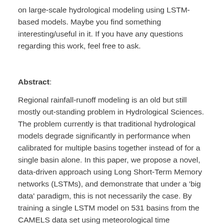on large-scale hydrological modeling using LSTM-based models. Maybe you find something interesting/useful in it. If you have any questions regarding this work, feel free to ask.
Abstract:
Regional rainfall-runoff modeling is an old but still mostly out-standing problem in Hydrological Sciences. The problem currently is that traditional hydrological models degrade significantly in performance when calibrated for multiple basins together instead of for a single basin alone. In this paper, we propose a novel, data-driven approach using Long Short-Term Memory networks (LSTMs), and demonstrate that under a 'big data' paradigm, this is not necessarily the case. By training a single LSTM model on 531 basins from the CAMELS data set using meteorological time